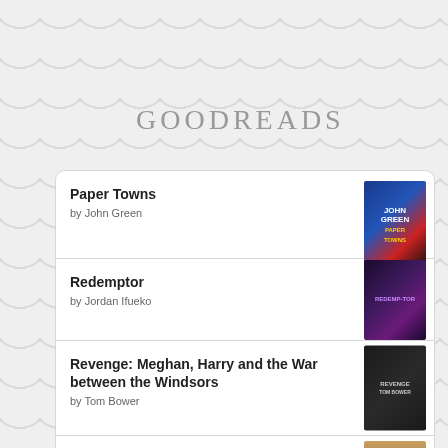GOODREADS
Paper Towns by John Green
Redemptor by Jordan Ifueko
Revenge: Meghan, Harry and the War between the Windsors by Tom Bower
Finding Freedom: Harry And Meghan And The Making Of A Modern Royal Family by Omid Scobie
Lincoln in the Bardo by George Saunders